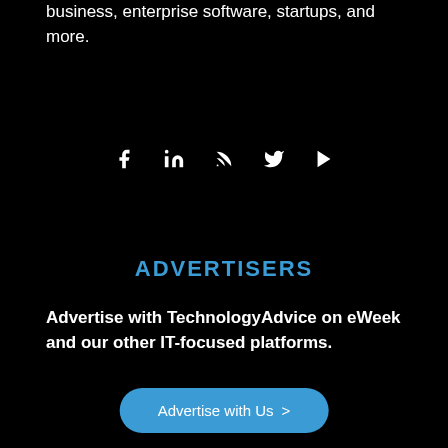business, enterprise software, startups, and more.
[Figure (illustration): Social media icons: Facebook, LinkedIn, RSS, Twitter/X, YouTube]
ADVERTISERS
Advertise with TechnologyAdvice on eWeek and our other IT-focused platforms.
[Figure (other): Blue rounded button with text 'Advertise with Us >']
[Figure (other): White advertisement box with close button]